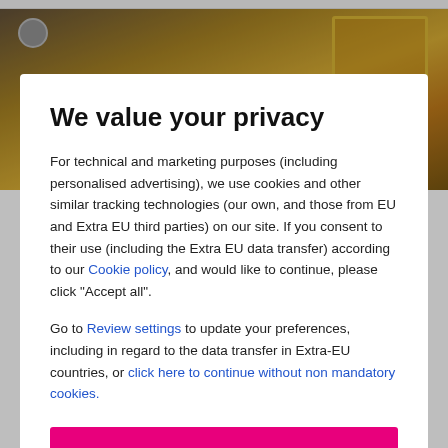[Figure (screenshot): Background screenshot of a hotel booking page showing a hotel room photo and address details: 139 Khaosan Road, Pranake, 1.4 Miles from the centre, Near Khaosan Road]
We value your privacy
For technical and marketing purposes (including personalised advertising), we use cookies and other similar tracking technologies (our own, and those from EU and Extra EU third parties) on our site. If you consent to their use (including the Extra EU data transfer) according to our Cookie policy, and would like to continue, please click "Accept all".
Go to Review settings to update your preferences, including in regard to the data transfer in Extra-EU countries, or click here to continue without non mandatory cookies.
ACCEPT ALL